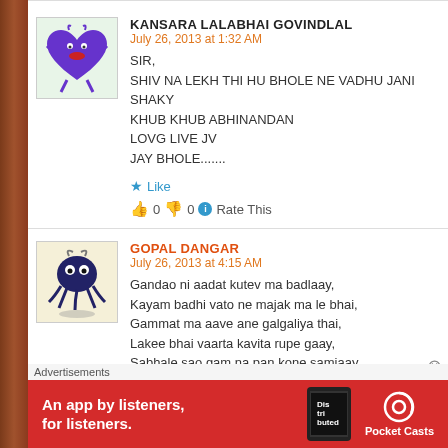KANSARA LALABHAI GOVINDLAL
July 26, 2013 at 1:32 AM
SIR,
SHIV NA LEKH THI HU BHOLE NE VADHU JANI SHAKY
KHUB KHUB ABHINANDAN
LOVG LIVE JV
JAY BHOLE.......
Like
👍 0 👎 0 Rate This
GOPAL DANGAR
July 26, 2013 at 4:15 AM
Gandao ni aadat kutev ma badlaay,
Kayam badhi vato ne majak ma le bhai,
Gammat ma aave ane galgaliya thai,
Lakee bhai vaarta kavita rupe gaay,
Sabhale sao gam na pan kone samjaay,
Advertisements
An app by listeners, for listeners. Pocket Casts